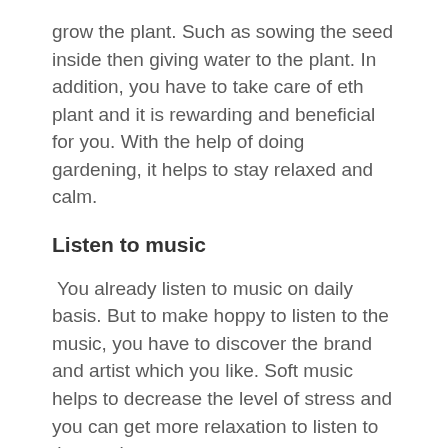grow the plant. Such as sowing the seed inside then giving water to the plant. In addition, you have to take care of eth plant and it is rewarding and beneficial for you. With the help of doing gardening, it helps to stay relaxed and calm.
Listen to music
You already listen to music on daily basis. But to make hoppy to listen to the music, you have to discover the brand and artist which you like. Soft music helps to decrease the level of stress and you can get more relaxation to listen to the music.
Coloring